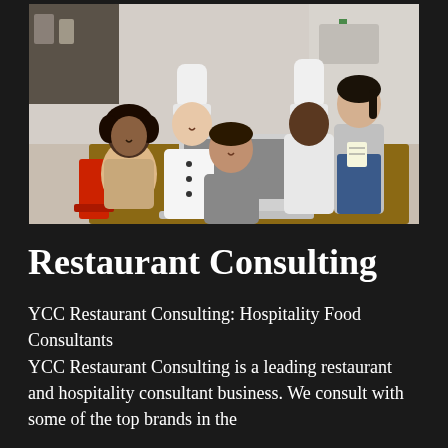[Figure (photo): A group of five restaurant/hospitality workers — including chefs in white uniforms and toques, a woman in casual clothes, and a woman in an apron — gathered around a laptop on a table in a restaurant setting.]
Restaurant Consulting
YCC Restaurant Consulting: Hospitality Food Consultants
YCC Restaurant Consulting is a leading restaurant and hospitality consultant business. We consult with some of the top brands in the